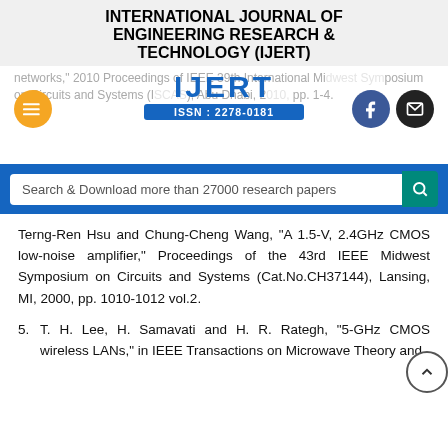INTERNATIONAL JOURNAL OF ENGINEERING RESEARCH & TECHNOLOGY (IJERT)
[Figure (logo): IJERT logo with ISSN: 2278-0181]
Search & Download more than 27000 research papers
Terng-Ren Hsu and Chung-Cheng Wang, "A 1.5-V, 2.4GHz CMOS low-noise amplifier," Proceedings of the 43rd IEEE Midwest Symposium on Circuits and Systems (Cat.No.CH37144), Lansing, MI, 2000, pp. 1010-1012 vol.2.
5. T. H. Lee, H. Samavati and H. R. Rategh, "5-GHz CMOS wireless LANs," in IEEE Transactions on Microwave Theory and